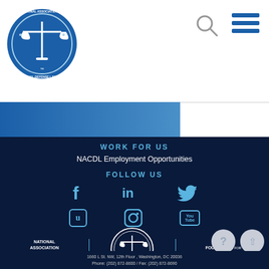[Figure (logo): NACDL National Association of Criminal Defense Lawyers circular logo with scales of justice]
WORK FOR US
NACDL Employment Opportunities
FOLLOW US
[Figure (infographic): Social media icons: Facebook, LinkedIn, Twitter, U (NACDL community), Instagram, YouTube]
[Figure (logo): NACDL circular seal logo in footer]
NATIONAL ASSOCIATION OF CRIMINAL DEFENSE LAWYERS
NACDL FOUNDATION FOR CRIMINAL JUSTICE
1660 L St. NW, 12th Floor , Washington, DC 20036
Phone: (202) 872-8600 / Fax: (202) 872-8690